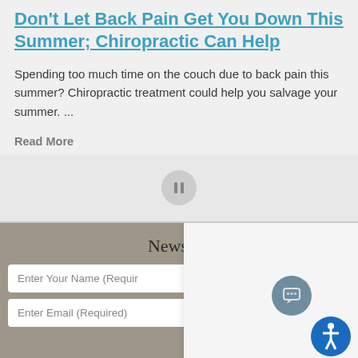Don't Let Back Pain Get You Down This Summer; Chiropractic Can Help
Spending too much time on the couch due to back pain this summer? Chiropractic treatment could help you salvage your summer. ...
Read More
[Figure (other): Pause button icon centered in a light grey area]
Newslett
Enter Your Name (Required)
Enter Email (Required)
[Figure (other): White overlay panel with chat icon, accessibility icon, and 'Uh oh.' popup text]